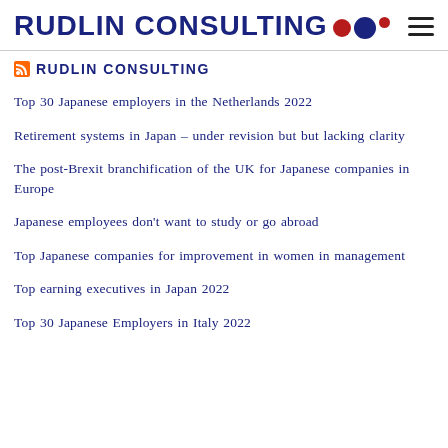RUDLIN CONSULTING
RUDLIN CONSULTING
Top 30 Japanese employers in the Netherlands 2022
Retirement systems in Japan – under revision but but lacking clarity
The post-Brexit branchification of the UK for Japanese companies in Europe
Japanese employees don't want to study or go abroad
Top Japanese companies for improvement in women in management
Top earning executives in Japan 2022
Top 30 Japanese Employers in Italy 2022